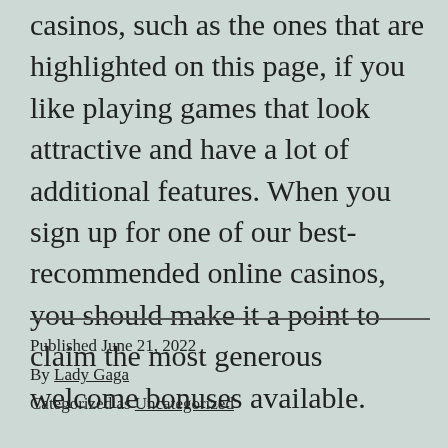casinos, such as the ones that are highlighted on this page, if you like playing games that look attractive and have a lot of additional features. When you sign up for one of our best-recommended online casinos, you should make it a point to claim the most generous welcome bonuses available.
Published June 21, 2022
By Lady Gaga
Categorized as Uncategorized